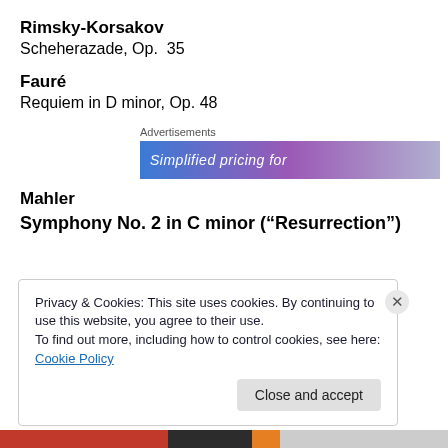Rimsky-Korsakov
Scheherazade, Op.  35
Fauré
Requiem in D minor, Op. 48
[Figure (screenshot): Advertisement banner with text 'Simplified pricing for' on a blue-to-purple gradient background, labeled 'Advertisements']
Mahler
Symphony No. 2 in C minor (“Resurrection”)
Privacy & Cookies: This site uses cookies. By continuing to use this website, you agree to their use.
To find out more, including how to control cookies, see here: Cookie Policy